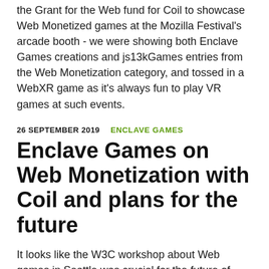the Grant for the Web fund for Coil to showcase Web Monetized games at the Mozilla Festival's arcade booth - we were showing both Enclave Games creations and js13kGames entries from the Web Monetization category, and tossed in a WebXR game as it's always fun to play VR games at such events.
26 SEPTEMBER 2019   ENCLAVE GAMES
Enclave Games on Web Monetization with Coil and plans for the future
It looks like the W3C workshop about Web games in Seattle was crucial for the future of Enclave Games - we're going to invest our time and efforts into exploring Web Monetization opportunities with Coil.